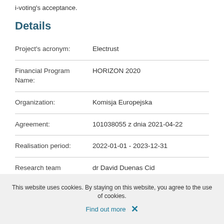i-voting's acceptance.
Details
| Field | Value |
| --- | --- |
| Project's acronym: | Electrust |
| Financial Program Name: | HORIZON 2020 |
| Organization: | Komisja Europejska |
| Agreement: | 101038055 z dnia 2021-04-22 |
| Realisation period: | 2022-01-01 - 2023-12-31 |
| Research team leader: | dr David Duenas Cid |
This website uses cookies. By staying on this website, you agree to the use of cookies.
Find out more